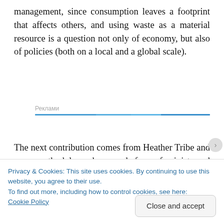management, since consumption leaves a footprint that affects others, and using waste as a material resource is a question not only of economy, but also of policies (both on a local and a global scale).
[Figure (other): Advertisement area with label 'Реклами' and a blue horizontal bar beneath it]
The next contribution comes from Heather Tribe and uses methodology borrowed from feminist and peace studies in order to examine how gender and food insecurity are linked
Privacy & Cookies: This site uses cookies. By continuing to use this website, you agree to their use.
To find out more, including how to control cookies, see here:
Cookie Policy